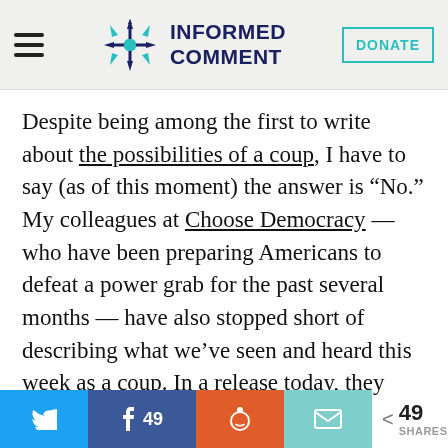INFORMED COMMENT | DONATE
Despite being among the first to write about the possibilities of a coup, I have to say (as of this moment) the answer is “No.” My colleagues at Choose Democracy – who have been preparing Americans to defeat a power grab for the past several months – have also stopped short of describing what we’ve seen and heard this week as a coup. In a release today, they said: “What we have seen has been slow, poorly rolled out, and
49 SHARES